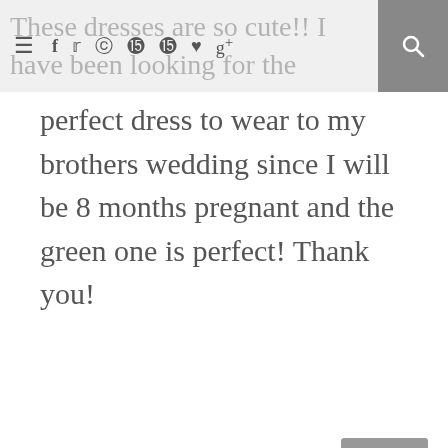navigation bar with hamburger menu, social icons (f, twitter, instagram, pinterest, pinterest, heart, g+), and search button
These dresses are so cute!! I have been looking for the perfect dress to wear to my brothers wedding since I will be 8 months pregnant and the green one is perfect! Thank you!
Reply
TONI
June 12, 2013 at 1:33 PM
I think I will make this, but not attach a shirt. That way I can just untuck to nurse later! I want to get the most use out